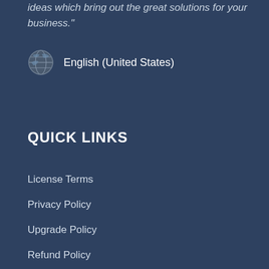ideas which bring out the great solutions for your business."
English (United States)
QUICK LINKS
License Terms
Privacy Policy
Upgrade Policy
Refund Policy
Affiliate Program